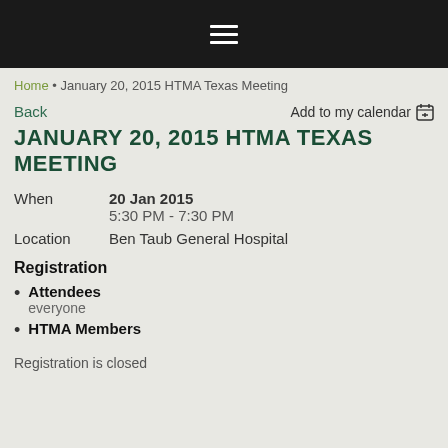≡
Home • January 20, 2015 HTMA Texas Meeting
Back   Add to my calendar
JANUARY 20, 2015 HTMA TEXAS MEETING
When  20 Jan 2015  5:30 PM - 7:30 PM
Location  Ben Taub General Hospital
Registration
Attendees
everyone
HTMA Members
Registration is closed